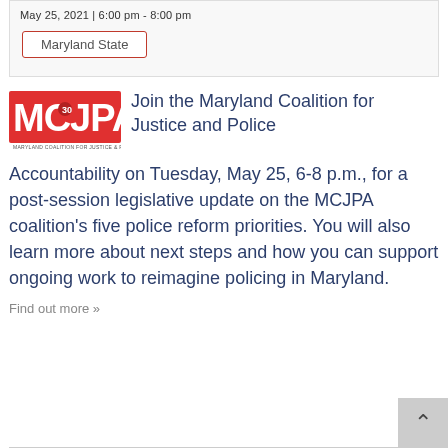May 25, 2021 | 6:00 pm - 8:00 pm
Maryland State
[Figure (logo): MCJPA logo - Maryland Coalition for Justice & Police Accountability, red letters on white background]
Join the Maryland Coalition for Justice and Police Accountability on Tuesday, May 25, 6-8 p.m., for a post-session legislative update on the MCJPA coalition’s five police reform priorities. You will also learn more about next steps and how you can support ongoing work to reimagine policing in Maryland.
Find out more »